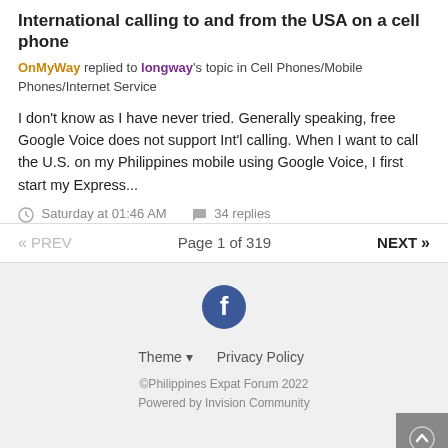International calling to and from the USA on a cell phone
OnMyWay replied to longway's topic in Cell Phones/Mobile Phones/Internet Service
I don't know as I have never tried. Generally speaking, free Google Voice does not support Int'l calling. When I want to call the U.S. on my Philippines mobile using Google Voice, I first start my Express...
Saturday at 01:46 AM   34 replies
« PREV   Page 1 of 319   NEXT »
[Figure (logo): Facebook logo circle icon]
Theme ▾   Privacy Policy
©Philippines Expat Forum 2022
Powered by Invision Community